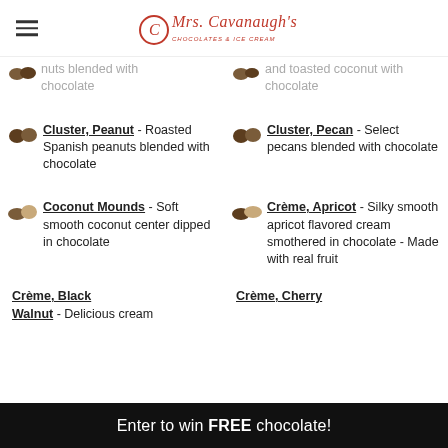Mrs. Cavanaugh's Chocolates & Ice Cream
nuts blended with chocolate (partial, left column top)
and toasted coconut with chocolate (partial, right column top)
Cluster, Peanut - Roasted Spanish peanuts blended with chocolate
Cluster, Pecan - Select pecans blended with chocolate
Coconut Mounds - Soft smooth coconut center dipped in chocolate
Crème, Apricot - Silky smooth apricot flavored cream smothered in chocolate - Made with real fruit
Crème, Black Walnut - Delicious cream (partial)
Crème, Cherry (partial)
Enter to win FREE chocolate!